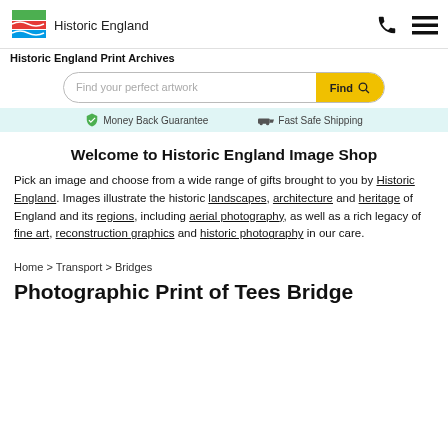[Figure (logo): Historic England logo with colored stripes (green, red, blue) and text 'Historic England']
Historic England Print Archives
[Figure (screenshot): Search bar with placeholder 'Find your perfect artwork' and yellow 'Find' button with magnifying glass icon]
Money Back Guarantee   Fast Safe Shipping
Welcome to Historic England Image Shop
Pick an image and choose from a wide range of gifts brought to you by Historic England. Images illustrate the historic landscapes, architecture and heritage of England and its regions, including aerial photography, as well as a rich legacy of fine art, reconstruction graphics and historic photography in our care.
Home > Transport > Bridges
Photographic Print of Tees Bridge